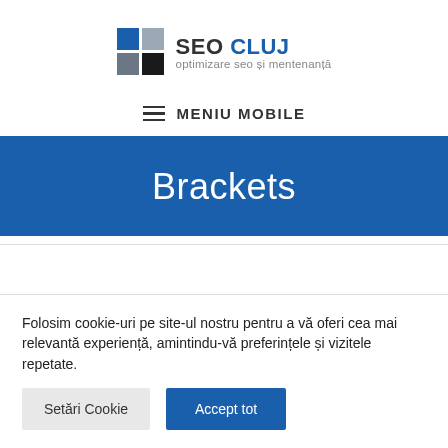[Figure (logo): SEO CLUJ logo with blue and gray grid squares and text 'SEO CLUJ optimizare seo și mentenanță']
≡ MENIU MOBILE
Brackets
Folosim cookie-uri pe site-ul nostru pentru a vă oferi cea mai relevantă experiență, amintindu-vă preferințele și vizitele repetate.
Setări Cookie
Accept tot